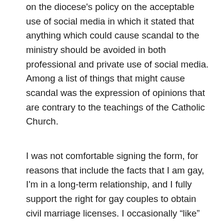on the diocese's policy on the acceptable use of social media in which it stated that anything which could cause scandal to the ministry should be avoided in both professional and private use of social media. Among a list of things that might cause scandal was the expression of opinions that are contrary to the teachings of the Catholic Church.
I was not comfortable signing the form, for reasons that include the facts that I am gay, I'm in a long-term relationship, and I fully support the right for gay couples to obtain civil marriage licenses. I occasionally “like” or post comments of support for pro-marriage equality posts and articles on Facebook. Social media is a big source